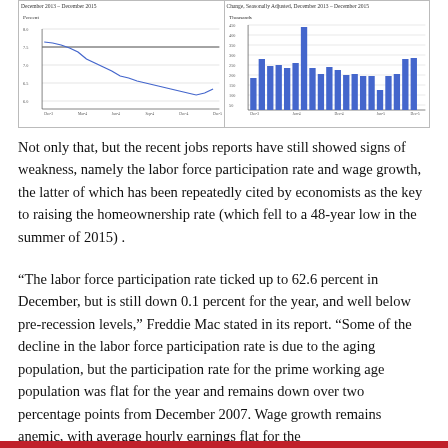[Figure (continuous-plot): Two charts side by side. Left: line chart showing labor force participation rate (Percent) declining from ~7.5 to ~6.0 from December 2013 to December 2015. Right: bar chart showing monthly job change (Thousands) from December 2013 to December 2015, with bars ranging from near 0 to ~450 thousand.]
Not only that, but the recent jobs reports have still showed signs of weakness, namely the labor force participation rate and wage growth, the latter of which has been repeatedly cited by economists as the key to raising the homeownership rate (which fell to a 48-year low in the summer of 2015) .
“The labor force participation rate ticked up to 62.6 percent in December, but is still down 0.1 percent for the year, and well below pre-recession levels,” Freddie Mac stated in its report. “Some of the decline in the labor force participation rate is due to the aging population, but the participation rate for the prime working age population was flat for the year and remains down over two percentage points from December 2007. Wage growth remains anemic, with average hourly earnings flat for the